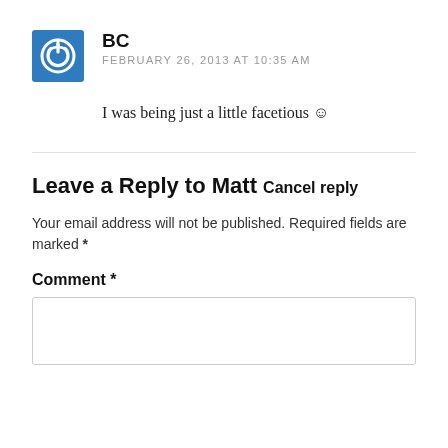BC
FEBRUARY 26, 2013 AT 10:35 AM
I was being just a little facetious ☺
Leave a Reply to Matt Cancel reply
Your email address will not be published. Required fields are marked *
Comment *